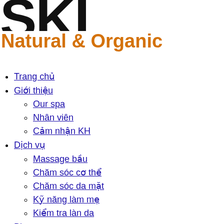[Figure (logo): Large black bold letters partially visible: 'SKI' or similar logo text cropped at right edge]
Natural & Organic
Trang chủ
Giới thiệu
Our spa
Nhân viên
Cảm nhận KH
Dịch vụ
Massage bầu
Chăm sóc cơ thể
Chăm sóc da mặt
Kỹ năng làm mẹ
Kiểm tra làn da
Blogs
Khuyến Mãi
Làm đẹp
Hình ảnh
Sản phẩm